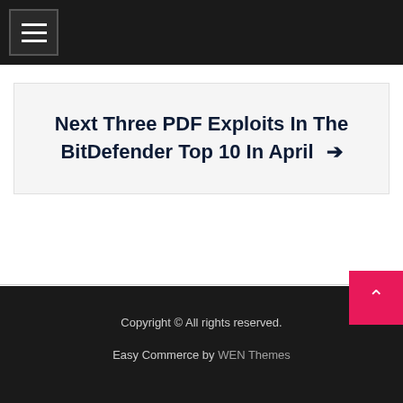☰ (hamburger menu button)
Next Three PDF Exploits In The BitDefender Top 10 In April →
Copyright © All rights reserved. Easy Commerce by WEN Themes